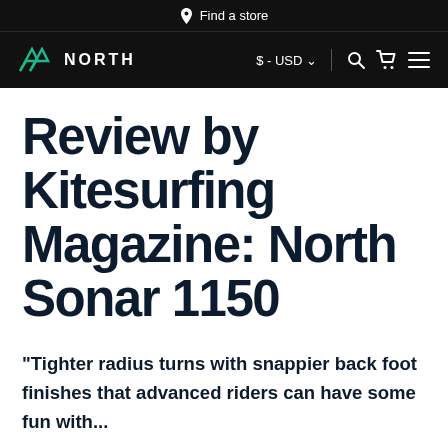Find a store
NORTH  $ - USD
Review by Kitesurfing Magazine: North Sonar 1150
"Tighter radius turns with snappier back foot finishes that advanced riders can have some fun with..."